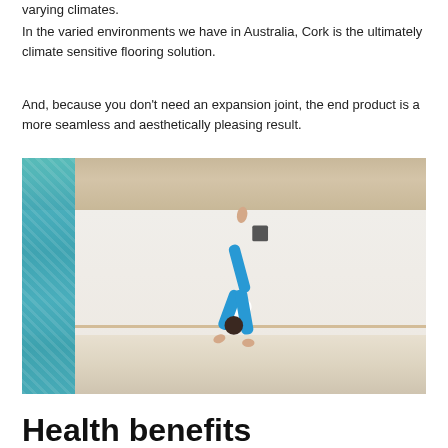varying climates.
In the varied environments we have in Australia, Cork is the ultimately climate sensitive flooring solution.
And, because you don't need an expansion joint, the end product is a more seamless and aesthetically pleasing result.
[Figure (photo): A person in blue yoga attire performing an advanced yoga pose (scorpion/wheel variation) on a cork floor in a bright studio with a teal mosaic pillar on the left, white walls, and a ballet barre.]
Health benefits